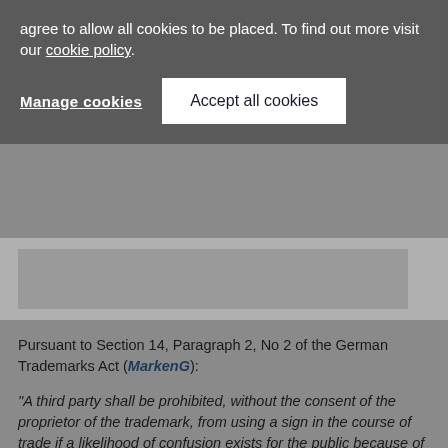agree to allow all cookies to be placed. To find out more visit our cookie policy.
Manage cookies | Accept all cookies
[Figure (other): Grey image bar area with darker grey inner rectangle]
Pursuant to Section 14, Paragraph 2, No 2 of the German Trademarks Act (MarkenG):
“A third party shall be prohibited, without the consent of the proprietor of the trademark, from using a sign in the course of trade if a likelihood of confusion exists for the public because of the identity or similarity of the sign to the trademark and the identity or similarity of the goods or services covered by the trademark and the sign, including the